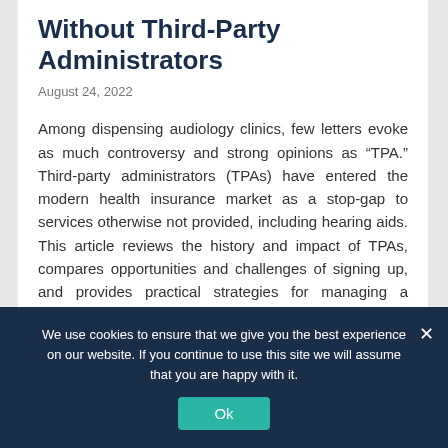Without Third-Party Administrators
August 24, 2022
Among dispensing audiology clinics, few letters evoke as much controversy and strong opinions as “TPA.” Third-party administrators (TPAs) have entered the modern health insurance market as a stop-gap to services otherwise not provided, including hearing aids. This article reviews the history and impact of TPAs, compares opportunities and challenges of signing up, and provides practical strategies for managing a successful hearing clinic, with or without TPAs.
We use cookies to ensure that we give you the best experience on our website. If you continue to use this site we will assume that you are happy with it.